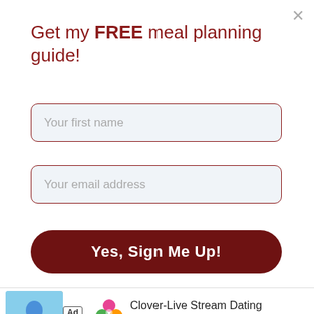Get my FREE meal planning guide!
Your first name
Your email address
Yes, Sign Me Up!
[Figure (photo): Photo of wine bottles with yellow and blue labels reading '1933', partially visible, dark background]
Ad  Clover-Live Stream Dating  Download